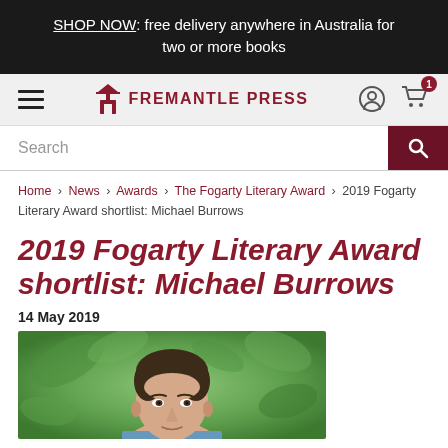SHOP NOW: free delivery anywhere in Australia for two or more books
[Figure (logo): Fremantle Press logo and navigation bar with hamburger menu, logo icon and text, user icon, and cart icon with badge showing 1]
[Figure (screenshot): Search bar with text 'Search' and dark red search button with magnifying glass icon]
Home > News > Awards > The Fogarty Literary Award > 2019 Fogarty Literary Award shortlist: Michael Burrows
2019 Fogarty Literary Award shortlist: Michael Burrows
14 May 2019
[Figure (photo): Portrait photo of Michael Burrows, a young man with short brown hair, against a green leafy background]